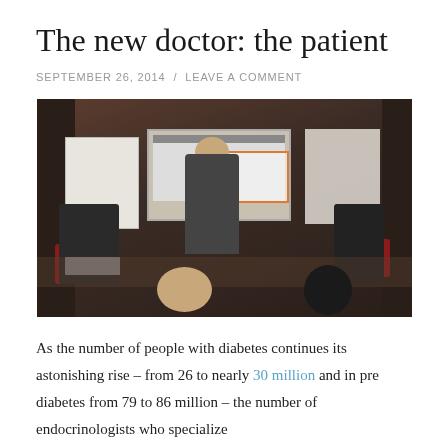The new doctor: the patient
SEPTEMBER 26, 2014 / LEAVE A COMMENT
[Figure (photo): A woman presenter standing in front of a whiteboard/screen display in a conference room, with seated audience members visible in the foreground and background, red chairs visible on the left side.]
As the number of people with diabetes continues its astonishing rise – from 26 to nearly 30 million and in pre diabetes from 79 to 86 million – the number of endocrinologists who specialize